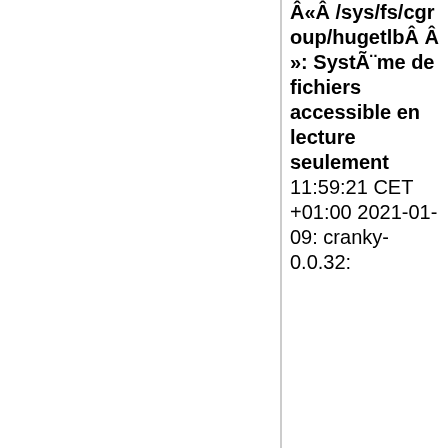&#194;&#171;&#194;&#160;/sys/fs/cgroup/hugetlb&#194;&#160;&#194;&#187;: Syst&#195;&#168;me de fichiers accessible en lecture seulement 11:59:21 CET +01:00 2021-01-09: cranky-0.0.32: